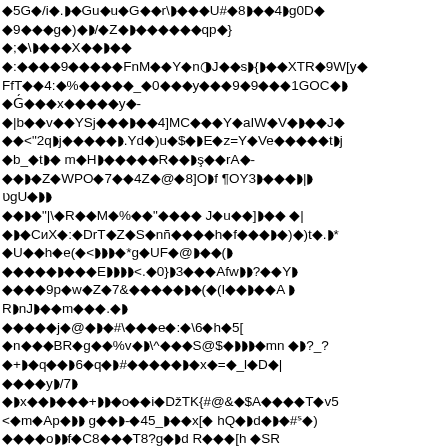Corrupted/encoded binary text content - unreadable glyphs representing encoded or corrupted data across multiple lines